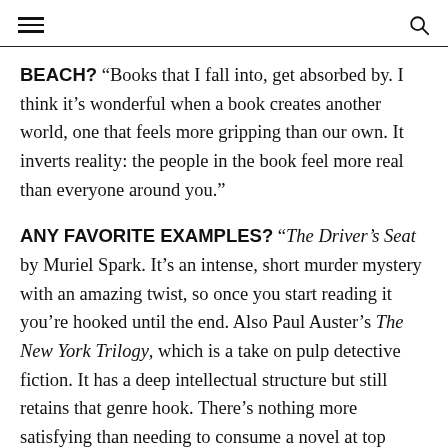[menu icon] [search icon]
BEACH? “Books that I fall into, get absorbed by. I think it’s wonderful when a book creates another world, one that feels more gripping than our own. It inverts reality: the people in the book feel more real than everyone around you.”
ANY FAVORITE EXAMPLES? “The Driver’s Seat by Muriel Spark. It’s an intense, short murder mystery with an amazing twist, so once you start reading it you’re hooked until the end. Also Paul Auster’s The New York Trilogy, which is a take on pulp detective fiction. It has a deep intellectual structure but still retains that genre hook. There’s nothing more satisfying than needing to consume a novel at top speed, and having the time to do it all at once.”